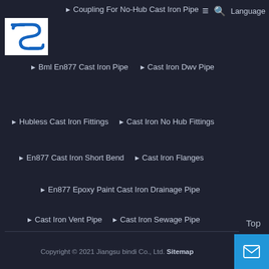[Figure (logo): Blue and white logo with stylized 'S' letter mark, square white background]
Coupling For No-Hub Cast Iron Pipe
Bml En877 Cast Iron Pipe
Cast Iron Dwv Pipe
Hubless Cast Iron Fittings
Cast Iron No Hub Fittings
En877 Cast Iron Short Bend
Cast Iron Flanges
En877 Epoxy Paint Cast Iron Drainage Pipe
Cast Iron Vent Pipe
Cast Iron Sewage Pipe
Hub Cast Iron Pipe
Cast Iron Pipe Adapter
anvil cast iron fittings
Copyright © 2021 Jiangsu bindi Co., Ltd. Sitemap